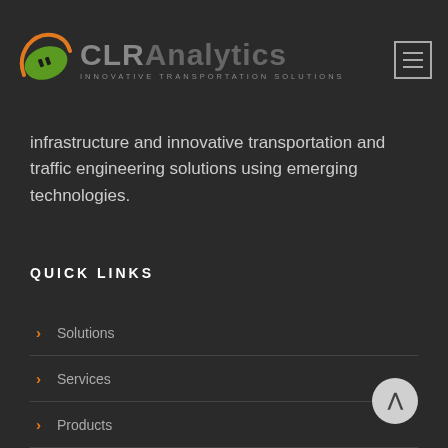CLRAnalytics — INNOVATIVE TRANSPORTATION SOLUTIONS
infrastructure and innovative transportation and traffic engineering solutions using emerging technologies.
QUICK LINKS
Solutions
Services
Products
Resources